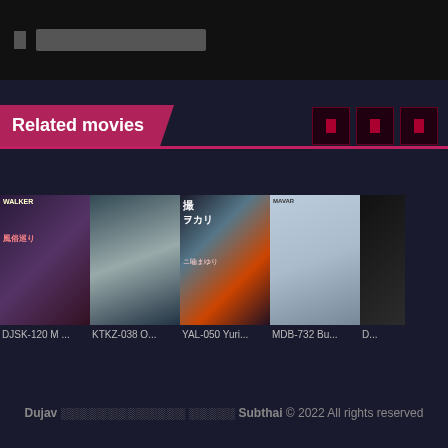░░░░░░░░░░
Related movies
[Figure (screenshot): Grid of related movie thumbnails with labels: DJSK-120 M ..., KTKZ-038 O..., YAL-050 Yuri..., MDB-732 Bu..., D...]
Dujav ░░░░░░░░░░░░░░░░ ░░░░░░ Subthai © 2022 All rights reserved